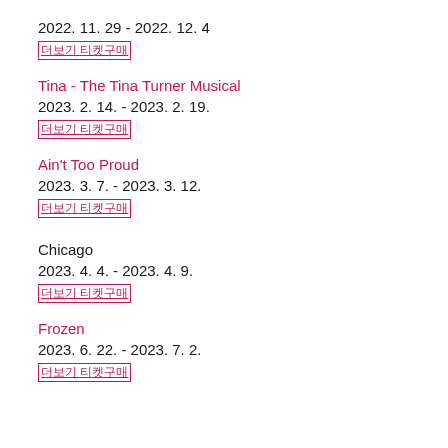2022. 11. 29 - 2022. 12. 4
더보기 티켓구매
Tina - The Tina Turner Musical
2023. 2. 14. - 2023. 2. 19.
더보기 티켓구매
Ain't Too Proud
2023. 3. 7. - 2023. 3. 12.
더보기 티켓구매
Chicago
2023. 4. 4. - 2023. 4. 9.
더보기 티켓구매
Frozen
2023. 6. 22. - 2023. 7. 2.
더보기 티켓구매